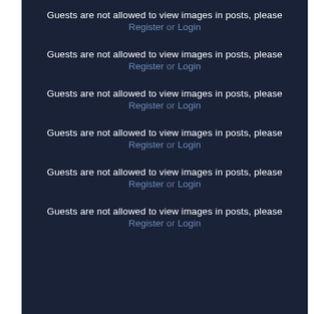Guests are not allowed to view images in posts, please Register or Login
Guests are not allowed to view images in posts, please Register or Login
Guests are not allowed to view images in posts, please Register or Login
Guests are not allowed to view images in posts, please Register or Login
Guests are not allowed to view images in posts, please Register or Login
Guests are not allowed to view images in posts, please Register or Login